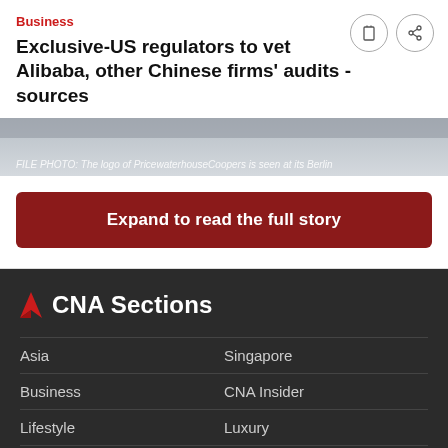Business
Exclusive-US regulators to vet Alibaba, other Chinese firms' audits -sources
[Figure (photo): FILE PHOTO: The logo of PricewaterhouseCoopers is seen at its Berlin office]
FILE PHOTO: The logo of PricewaterhouseCoopers is seen at its Berlin
Expand to read the full story
CNA Sections
Asia
Singapore
Business
CNA Insider
Lifestyle
Luxury
CNA938 Live
Commentary